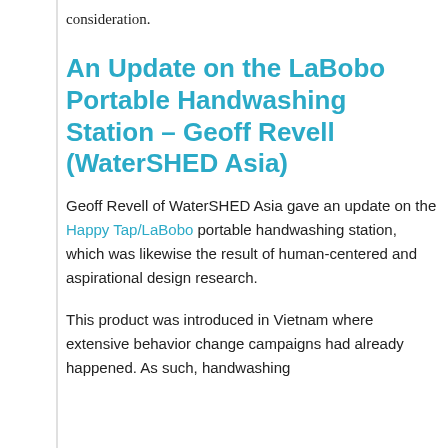consideration.
An Update on the LaBobo Portable Handwashing Station – Geoff Revell (WaterSHED Asia)
Geoff Revell of WaterSHED Asia gave an update on the Happy Tap/LaBobo portable handwashing station, which was likewise the result of human-centered and aspirational design research.
This product was introduced in Vietnam where extensive behavior change campaigns had already happened. As such, handwashing